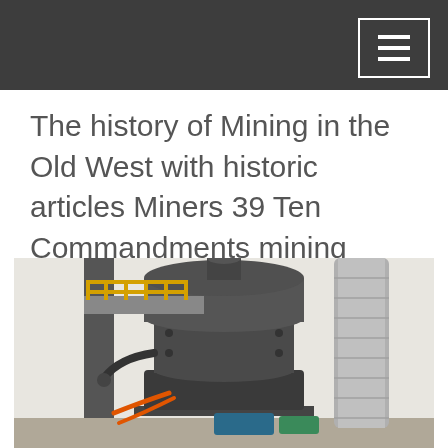The history of Mining in the Old West with historic articles Miners 39 Ten Commandments mining terms treasure tales and more …
[Figure (photo): Industrial mining mill equipment — a large vertical grey cylindrical grinding mill machine with ducting, orange hoses, and blue/green machinery components, inside a white industrial building with yellow safety railings on an upper platform.]